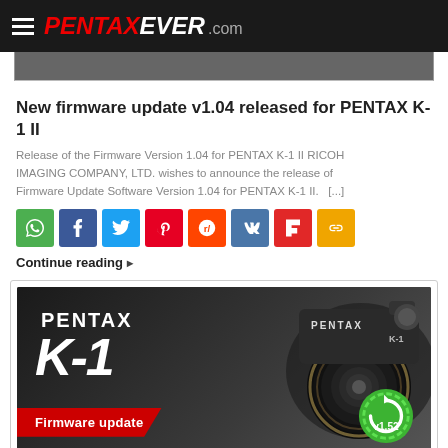PENTAXEVER.com
[Figure (screenshot): Partial top image bar (cropped article image)]
New firmware update v1.04 released for PENTAX K-1 II
Release of the Firmware Version 1.04 for PENTAX K-1 II RICOH IMAGING COMPANY, LTD. wishes to announce the release of Firmware Update Software Version 1.04 for PENTAX K-1 II.   [...]
[Figure (infographic): Row of 8 social sharing buttons: WhatsApp (green), Facebook (blue), Twitter (light blue), Pinterest (red), Reddit (orange), VK (steel blue), Flipboard (red), Copy link (yellow)]
Continue reading ▸
[Figure (photo): PENTAX K-1 camera promotional image on dark background. Text reads PENTAX K-1. Red banner at bottom left says 'Firmware update'. Green circular badge at bottom right shows 'v1.52'.]